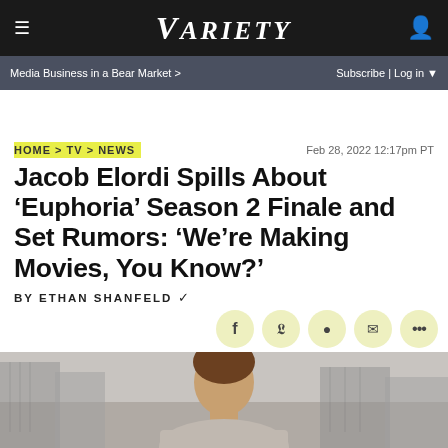≡  VARIETY  👤
Media Business in a Bear Market >   Subscribe | Log in ▼
HOME > TV > NEWS
Feb 28, 2022 12:17pm PT
Jacob Elordi Spills About 'Euphoria' Season 2 Finale and Set Rumors: 'We're Making Movies, You Know?'
By Ethan Shanfeld ✓
[Figure (photo): Photo of Jacob Elordi, a young man with brown hair, shown from the shoulders up against an urban background.]